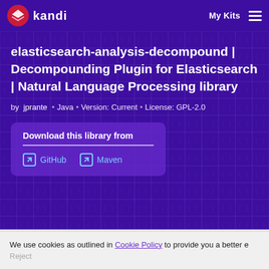kandi  My Kits
elasticsearch-analysis-decompound | Decompounding Plugin for Elasticsearch | Natural Language Processing library
by jprante • Java • Version: Current • License: GPL-2.0
Download this library from
GitHub   Maven
We use cookies as outlined in Cookie Policy to provide you a better e
Reject